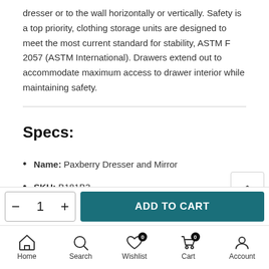dresser or to the wall horizontally or vertically. Safety is a top priority, clothing storage units are designed to meet the most current standard for stability, ASTM F 2057 (ASTM International). Drawers extend out to accommodate maximum access to drawer interior while maintaining safety.
Specs:
Name: Paxberry Dresser and Mirror
SKU: B181B3